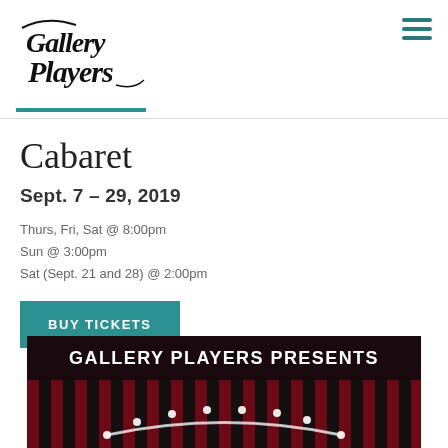[Figure (logo): Gallery Players logo in stylized black script lettering]
Cabaret
Sept. 7 – 29, 2019
Thurs, Fri, Sat @ 8:00pm
Sun @ 3:00pm
Sat (Sept. 21 and 28) @ 2:00pm
BUY TICKETS
[Figure (illustration): Gallery Players Presents – dark theatrical poster for Cabaret with red and dark vertical stripes and illuminated marquee lettering]